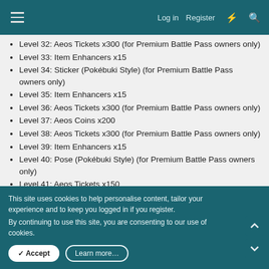Log in  Register
Level 32: Aeos Tickets x300 (for Premium Battle Pass owners only)
Level 33: Item Enhancers x15
Level 34: Sticker (Pokébuki Style) (for Premium Battle Pass owners only)
Level 35: Item Enhancers x15
Level 36: Aeos Tickets x300 (for Premium Battle Pass owners only)
Level 37: Aeos Coins x200
Level 38: Aeos Tickets x300 (for Premium Battle Pass owners only)
Level 39: Item Enhancers x15
Level 40: Pose (Pokébuki Style) (for Premium Battle Pass owners only)
Level 41: Aeos Tickets x150
This site uses cookies to help personalise content, tailor your experience and to keep you logged in if you register.
By continuing to use this site, you are consenting to our use of cookies.